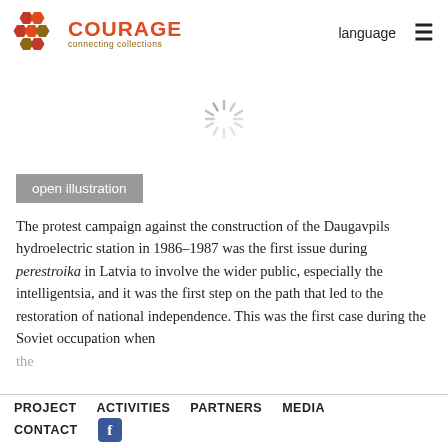COURAGE connecting collections | language ☰
[Figure (illustration): Loading spinner icon centered in white space area]
open illustration
The protest campaign against the construction of the Daugavpils hydroelectric station in 1986–1987 was the first issue during perestroika in Latvia to involve the wider public, especially the intelligentsia, and it was the first step on the path that led to the restoration of national independence. This was the first case during the Soviet occupation when the...
PROJECT  ACTIVITIES  PARTNERS  MEDIA  CONTACT  [Facebook icon]